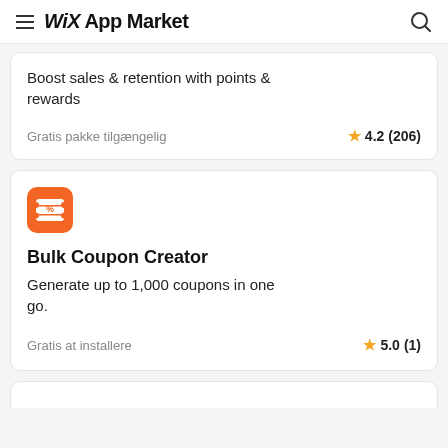WiX App Market
Boost sales & retention with points & rewards
Gratis pakke tilgængelig
4.2 (206)
[Figure (logo): Bulk Coupon Creator app icon - orange square with coupon/ticket icon]
Bulk Coupon Creator
Generate up to 1,000 coupons in one go.
Gratis at installere
5.0 (1)